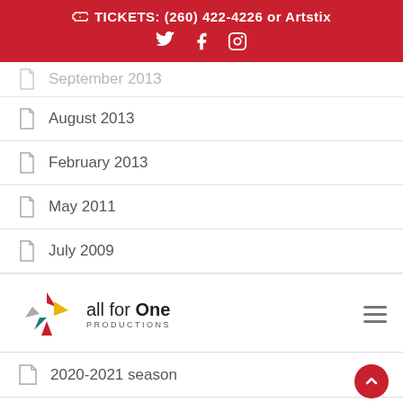TICKETS: (260) 422-4226 or Artstix
September 2013
August 2013
February 2013
May 2011
July 2009
[Figure (logo): All for One Productions logo with colorful star/pinwheel icon and company name]
2020-2021 season
2021-2022 season